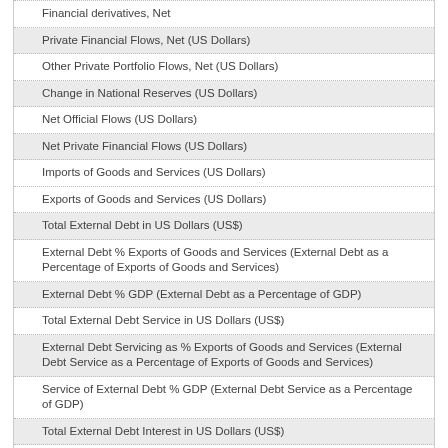Financial derivatives, Net
Private Financial Flows, Net (US Dollars)
Other Private Portfolio Flows, Net (US Dollars)
Change in National Reserves (US Dollars)
Net Official Flows (US Dollars)
Net Private Financial Flows (US Dollars)
Imports of Goods and Services (US Dollars)
Exports of Goods and Services (US Dollars)
Total External Debt in US Dollars (US$)
External Debt % Exports of Goods and Services (External Debt as a Percentage of Exports of Goods and Services)
External Debt % GDP (External Debt as a Percentage of GDP)
Total External Debt Service in US Dollars (US$)
External Debt Servicing as % Exports of Goods and Services (External Debt Service as a Percentage of Exports of Goods and Services)
Service of External Debt % GDP (External Debt Service as a Percentage of GDP)
Total External Debt Interest in US Dollars (US$)
Interest on External Debt % Exports of Goods and Services (External Debt Interest as a Percentage of Exports of Goods and Services)
Interest on External Debt % GDP (External Debt Interest as a Percentage of GDP)
Total External Debt Amortization in US Dollars (US$)
External Debt Amortized as % Exports of Goods and Services (External Debt Amortization as a Percentage of Exports of Goods and Services)
Amortization of External Debt % GDP (External Debt Amortization as a Percentage of GDP)